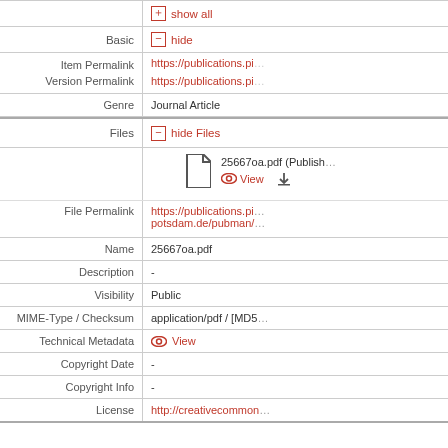|  | show all |
| Basic | hide |
| Item Permalink | https://publications.pi... |
| Version Permalink | https://publications.pi... |
| Genre | Journal Article |
| Files | hide Files |
|  | 25667oa.pdf (Publish...  View  [download] |
| File Permalink | https://publications.pi...potsdam.de/pubman/... |
| Name | 25667oa.pdf |
| Description | - |
| Visibility | Public |
| MIME-Type / Checksum | application/pdf / [MD5... |
| Technical Metadata | View |
| Copyright Date | - |
| Copyright Info | - |
| License | http://creativecommon... |